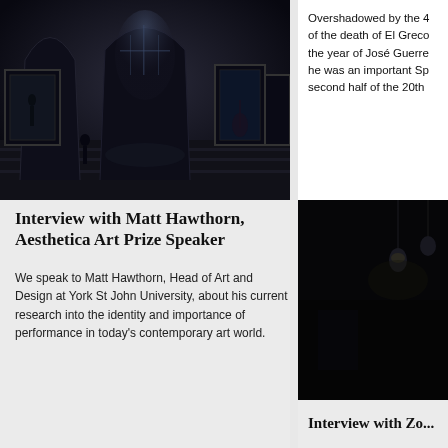[Figure (photo): Dark interior of a gothic church/cathedral with large framed photographs displayed on the walls and stairs, dimly lit]
Overshadowed by the 4... of the death of El Greco... the year of José Guerre... he was an important Sp... second half of the 20th...
[Figure (photo): Dark room interior, nearly black, with hanging pendant lights visible]
Interview with Matt Hawthorn, Aesthetica Art Prize Speaker
We speak to Matt Hawthorn, Head of Art and Design at York St John University, about his current research into the identity and importance of performance in today's contemporary art world.
Interview with Zo...